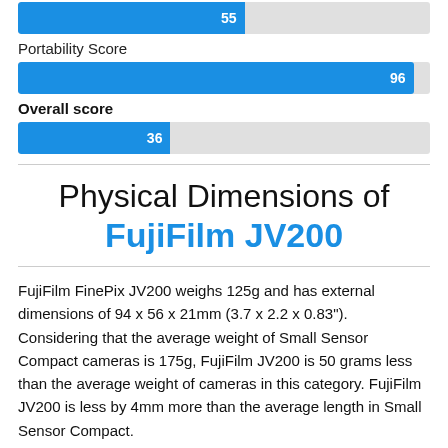[Figure (bar-chart): Score bar (top, clipped)]
Portability Score
[Figure (bar-chart): Portability Score]
Overall score
[Figure (bar-chart): Overall score]
Physical Dimensions of FujiFilm JV200
FujiFilm FinePix JV200 weighs 125g and has external dimensions of 94 x 56 x 21mm (3.7 x 2.2 x 0.83"). Considering that the average weight of Small Sensor Compact cameras is 175g, FujiFilm JV200 is 50 grams less than the average weight of cameras in this category. FujiFilm JV200 is less by 4mm more than the average length in Small Sensor Compact.
Weight Comparison